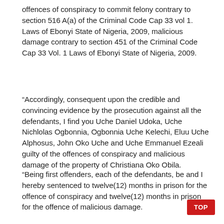offences of conspiracy to commit felony contrary to section 516 A(a) of the Criminal Code Cap 33 vol 1. Laws of Ebonyi State of Nigeria, 2009, malicious damage contrary to section 451 of the Criminal Code Cap 33 Vol. 1 Laws of Ebonyi State of Nigeria, 2009.
“Accordingly, consequent upon the credible and convincing evidence by the prosecution against all the defendants, I find you Uche Daniel Udoka, Uche Nichlolas Ogbonnia, Ogbonnia Uche Kelechi, Eluu Uche Alphosus, John Oko Uche and Uche Emmanuel Ezeali guilty of the offences of conspiracy and malicious damage of the property of Christiana Oko Obila.
“Being first offenders, each of the defendants, be and I hereby sentenced to twelve(12) months in prison for the offence of conspiracy and twelve(12) months in prison for the offence of malicious damage.